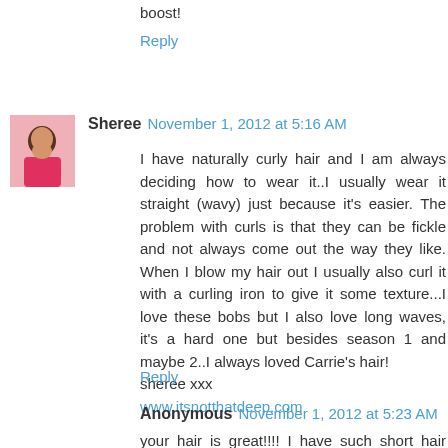boost!
Reply
Sheree  November 1, 2012 at 5:16 AM
I have naturally curly hair and I am always deciding how to wear it..I usually wear it straight (wavy) just because it's easier. The problem with curls is that they can be fickle and not always come out the way they like. When I blow my hair out I usually also curl it with a curling iron to give it some texture...I love these bobs but I also love long waves, it's a hard one but besides season 1 and maybe 2..I always loved Carrie's hair!
sheree xxx
www.itsnotthatdeep.com
Reply
Anonymous  November 1, 2012 at 5:23 AM
your hair is great!!!! I have such short hair (boyish style) that I wouldn´t know what to share really! :) xo, Alma